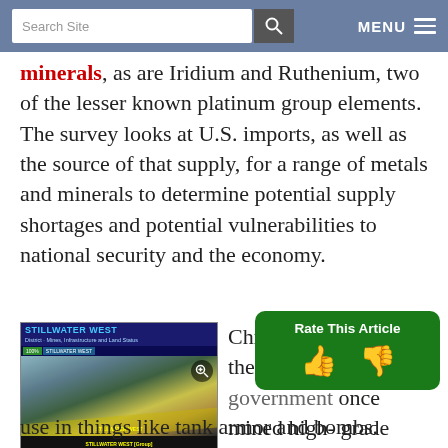Search Site | MENU
minerals, as are Iridium and Ruthenium, two of the lesser known platinum group elements. The survey looks at U.S. imports, as well as the source of that supply, for a range of metals and minerals to determine potential supply shortages and potential vulnerabilities to national security and the economy.
[Figure (photo): Stillwater West corporate presentation image showing a geological cross-section and aerial view of the mine site, with zoom icon overlay.]
Source: Group Ten Metals Inc. corporate presentation
Chromium also makes the list, and the U.S. government once mined high-grade chromite in the district in the 1940s for use in things like tank armor and bombs.